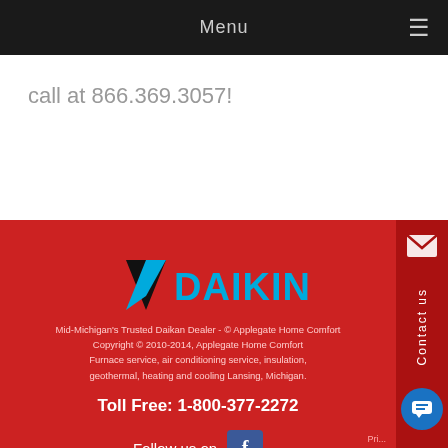Menu
call at 866.369.3057!
[Figure (logo): Daikin logo with black chevron and blue text]
Mid-Michigan's Trusted Daikan Dealer - © Applegate Home Comfort
Copyright © 2010-2014, Applegate Home Comfort
Furnace service, air conditioning service, insulation, geothermal, heating and cooling Lansing, Michigan.
Toll Free: 1-800-377-2272
Privacy
Follow us on
Contact us